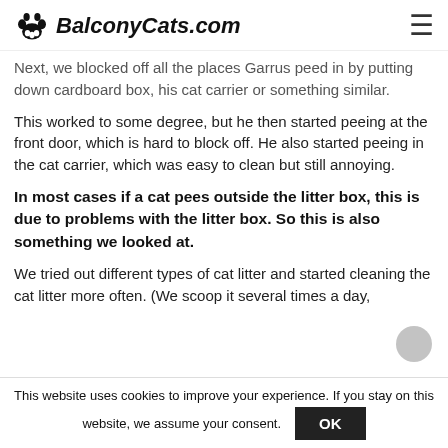BalconyCats.com
Next, we blocked off all the places Garrus peed in by putting down cardboard box, his cat carrier or something similar.
This worked to some degree, but he then started peeing at the front door, which is hard to block off. He also started peeing in the cat carrier, which was easy to clean but still annoying.
In most cases if a cat pees outside the litter box, this is due to problems with the litter box. So this is also something we looked at.
We tried out different types of cat litter and started cleaning the cat litter more often. (We scoop it several times a day,
This website uses cookies to improve your experience. If you stay on this website, we assume your consent.